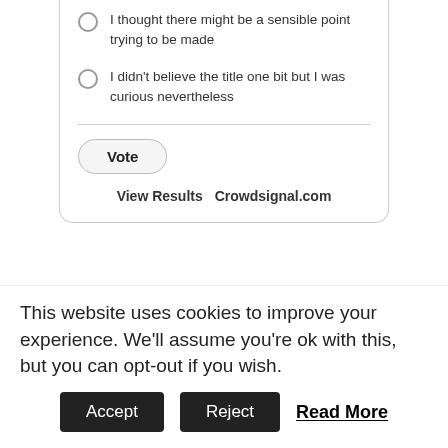I thought there might be a sensible point trying to be made
I didn't believe the title one bit but I was curious nevertheless
Vote   View Results   Crowdsignal.com
Hopefully the rest of the post will clarify why I have several problems with Crypto-currencies and believe it or not, they're mostly nothing to do with the actual semantics of digital
This website uses cookies to improve your experience. We'll assume you're ok with this, but you can opt-out if you wish.
Accept   Reject   Read More